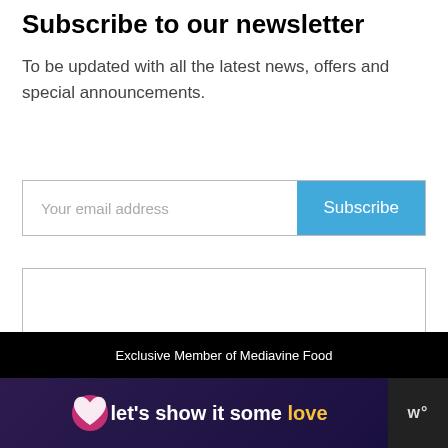Subscribe to our newsletter
To be updated with all the latest news, offers and special announcements.
[Figure (screenshot): Email subscription form with 'Your email address' input field and blue 'Subscribe' button]
[Figure (screenshot): Empty content box below the subscription form]
[Figure (infographic): Blue circular heart/like button and share button with count '1' on the right side]
Exclusive Member of Mediavine Food
[Figure (screenshot): Bottom banner: "let's show it some love" with heart icon, on dark purple background, with logo mark on right]